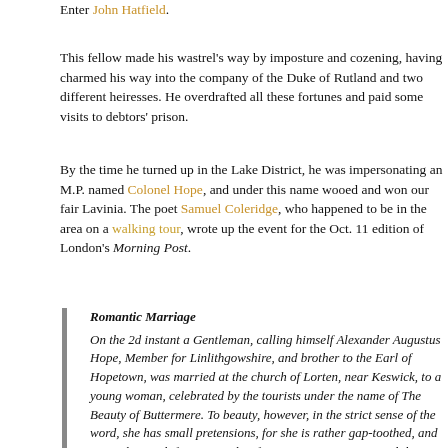Enter John Hatfield.
This fellow made his wastrel's way by imposture and cozening, having charmed his way into the company of the Duke of Rutland and two different heiresses. He overdrafted all these fortunes and paid some visits to debtors' prison.
By the time he turned up in the Lake District, he was impersonating an M.P. named Colonel Hope, and under this name wooed and won our fair Lavinia. The poet Samuel Coleridge, who happened to be in the area on a walking tour, wrote up the event for the Oct. 11 edition of London's Morning Post.
Romantic Marriage

On the 2d instant a Gentleman, calling himself Alexander Augustus Hope, Member for Linlithgowshire, and brother to the Earl of Hopetown, was married at the church of Lorten, near Keswick, to a young woman, celebrated by the tourists under the name of The Beauty of Buttermere. To beauty, however, in the strict sense of the word, she has small pretensions, for she is rather gap-toothed, and somewhat pock-fretten. But her face is very expressive, and the expression extremely interesting, and her figure and movements are graceful to a miracle. She ought indeed to have been called the Grace of Buttermere, rather than the Beauty. — She is the daughter of an old couple, named Robinson, who keep a poor little pot-house at the foot of the small lake of Buttermere, with the sign of the Char, and has been all her life the attendant and waiter, for they have no servant. She is now about thirty, and has long attracted the notice of every visitor by her exquisite elegance, and the becoming manner in which she is used to fillet her beautiful long hair; likewise by the uncommonly fine Italian hand-writing in which the little bill was drawn out. Added to this, she has ever maintained an irreproachable character, is a good daughter, and a modest, sensible, and observant woman. That such a woman should find a husband in a man of rank and